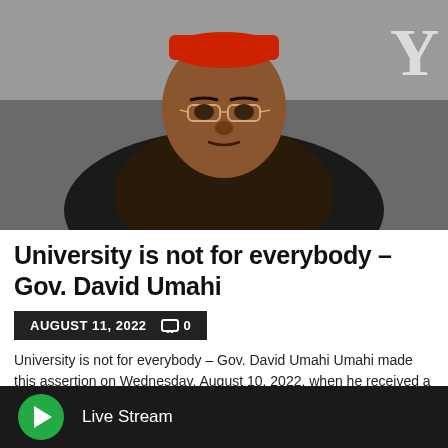[Figure (photo): Man wearing a red cap and dark shirt seated in a black leather chair, looking serious. Partial logo letter 'Y' visible in upper right corner.]
University is not for everybody – Gov. David Umahi
AUGUST 11, 2022   □ 0
University is not for everybody – Gov. David Umahi Umahi made this assertion on Wednesday, August 10, 2022, when he received a delegation from the Nigerian Police Trust Fund by Dr. Ben Akabueze, in Abakaliki, the Ebonyi State capital. Umahi on Education in Nigeria: Umahi, who said Nigeria's education's system was not…
Live Stream